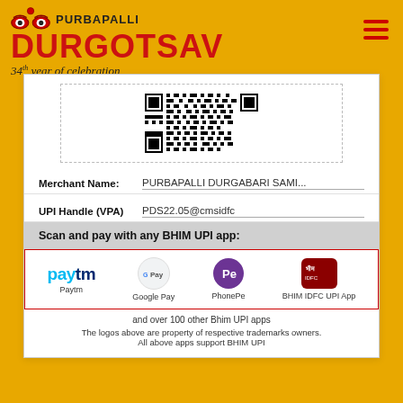[Figure (logo): Purbapalli Durgotsav logo with Durga eye icon, red DURGOTSAV text, and '34th year of celebration' tagline on golden background]
[Figure (other): QR code for UPI payment]
Merchant Name: PURBAPALLI DURGABARI SAMI...
UPI Handle (VPA) PDS22.05@cmsidfc
Scan and pay with any BHIM UPI app:
[Figure (infographic): Payment app logos: Paytm, Google Pay, PhonePe, BHIM IDFC UPI App]
and over 100 other Bhim UPI apps
The logos above are property of respective trademarks owners. All above apps support BHIM UPI